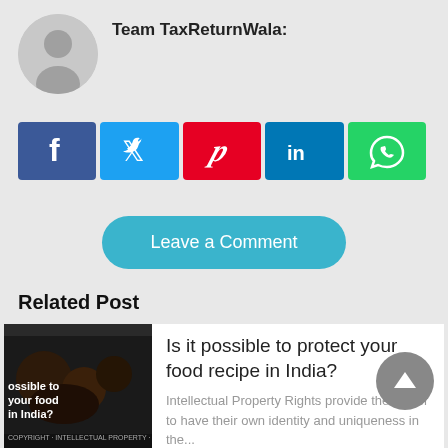Team TaxReturnWala:
[Figure (illustration): Gray circular avatar placeholder with a silhouette person icon]
[Figure (infographic): Social share buttons row: Facebook (blue, f), Twitter (light blue, bird), Pinterest (red, p), LinkedIn (blue, in), WhatsApp (green, phone)]
Leave a Comment
Related Post
[Figure (photo): Thumbnail image of food in dark setting with text overlay: ossible to your food in India? and copyright/licensing text at bottom]
Is it possible to protect your food recipe in India?
Intellectual Property Rights provide the owner to have their own identity and uniqueness in the...
[Figure (photo): Partial thumbnail image with yellow/gold and dark colors at the bottom of the page]